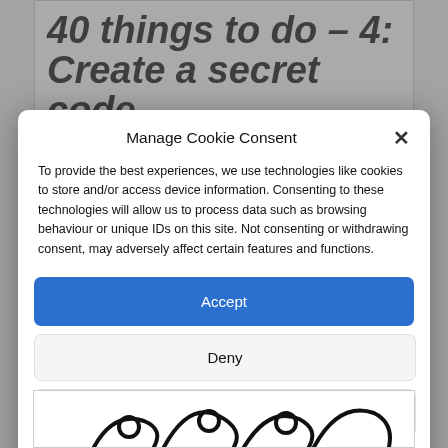40 things to do – 4: Create a secret code
Manage Cookie Consent
To provide the best experiences, we use technologies like cookies to store and/or access device information. Consenting to these technologies will allow us to process data such as browsing behaviour or unique IDs on this site. Not consenting or withdrawing consent, may adversely affect certain features and functions.
Accept
Deny
View preferences
Cookie Policy   Privacy & Cookie Policy, Terms of Use
[Figure (illustration): Partial illustration of abstract curved black line drawings at bottom of page]